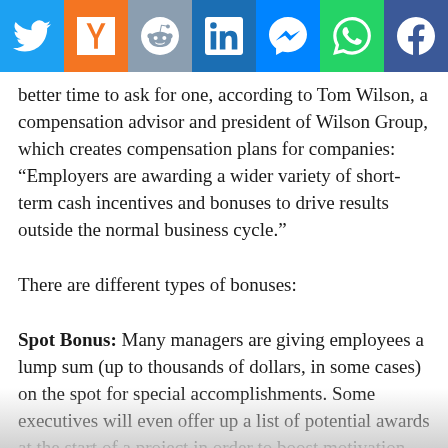[Figure (other): Social media share bar with icons for Twitter, Hacker News (Y), Reddit, LinkedIn, Messenger, WhatsApp, and Facebook]
better time to ask for one, according to Tom Wilson, a compensation advisor and president of Wilson Group, which creates compensation plans for companies: “Employers are awarding a wider variety of short-term cash incentives and bonuses to drive results outside the normal business cycle.”
There are different types of bonuses:
Spot Bonus: Many managers are giving employees a lump sum (up to thousands of dollars, in some cases) on the spot for special accomplishments. Some executives will even offer up a list of potential awards at the start of a project in order to boost motivation.
Retention Bonus: If “keeping the band together” is vit…